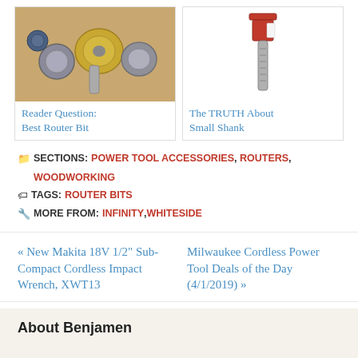[Figure (photo): Two photos side by side: left shows router bit components (collet/shank pieces), right shows a red and silver router bit (small shank)]
Reader Question: Best Router Bit
The TRUTH About Small Shank
SECTIONS: POWER TOOL ACCESSORIES, ROUTERS, WOODWORKING
TAGS: ROUTER BITS
MORE FROM: INFINITY, WHITESIDE
« New Makita 18V 1/2" Sub-Compact Cordless Impact Wrench, XWT13
Milwaukee Cordless Power Tool Deals of the Day (4/1/2019) »
About Benjamen